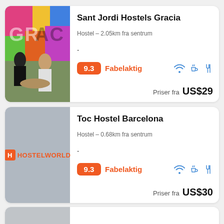[Figure (screenshot): Hostel listing card for Sant Jordi Hostels Gracia showing a photo of people at an outdoor table with colorful graffiti wall, rating 9.3 Fabelaktig, icons for WiFi/coffee/other amenity, price from US$29]
Sant Jordi Hostels Gracia
Hostel - 2.05km fra sentrum
- 
9.3 Fabelaktig
Priser fra US$29
[Figure (screenshot): Hostel listing card for Toc Hostel Barcelona showing a grey placeholder image with Hostelworld logo, rating 9.3 Fabelaktig, icons for WiFi/coffee/other amenity, price from US$30]
Toc Hostel Barcelona
Hostel - 0.68km fra sentrum
- 
9.3 Fabelaktig
Priser fra US$30